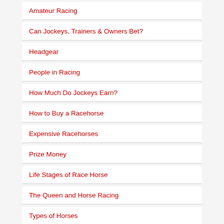Amateur Racing
Can Jockeys, Trainers & Owners Bet?
Headgear
People in Racing
How Much Do Jockeys Earn?
How to Buy a Racehorse
Expensive Racehorses
Prize Money
Life Stages of Race Horse
The Queen and Horse Racing
Types of Horses
Horse Breeds